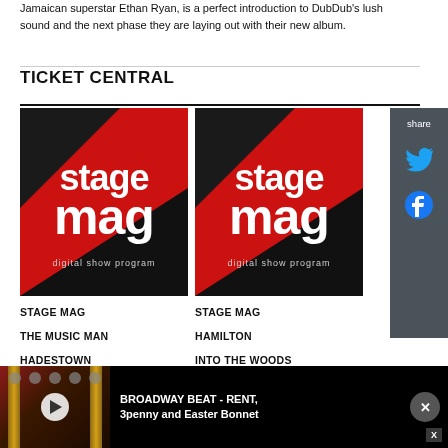Jamaican superstar Ethan Ryan, is a perfect introduction to DubDub's lush sound and the next phase they are laying out with their new album.
TICKET CENTRAL
[Figure (screenshot): Stage Mag digital show program logo - left image]
[Figure (screenshot): Stage Mag digital show program logo - right image]
STAGE MAG
STAGE MAG
THE MUSIC MAN
HAMILTON
HADESTOWN
INTO THE WOODS
MJ, THE MUSICAL
BEETLEJUICE
[Figure (screenshot): Broadway Beat - RENT, 3penny and Easter Bonnet video ad banner with theater thumbnail and play button]